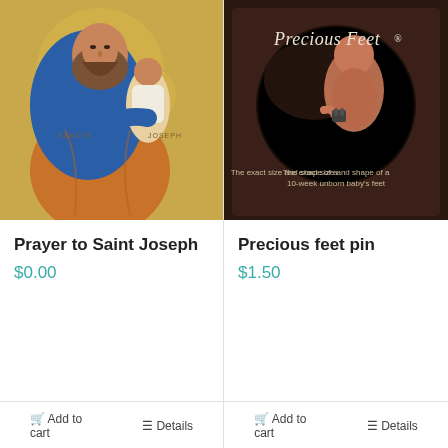[Figure (illustration): Religious icon painting of Saint Joseph holding the child Jesus, in Byzantine style with golden background. Text SANCTE and JOSEPH visible.]
Prayer to Saint Joseph
$0.00
Add to cart
Details
[Figure (photo): Dark brown packaged product box labeled 'Precious Feet' showing a fetus/baby with a small pin, with text 'The exact size and shape of a 10-week unborn baby's feet']
Precious feet pin
$1.50
Add to cart
Details